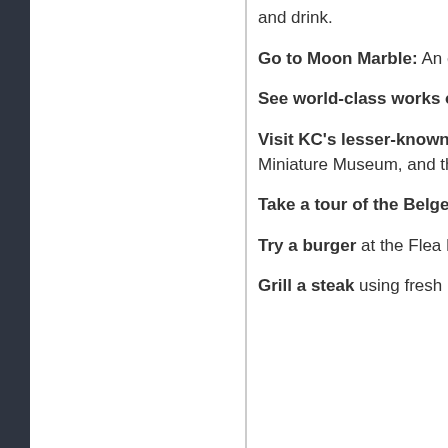and drink.
Go to Moon Marble: An eclectic, a Springs with marble-making demon
See world-class works of art: The Nerman Museums all feature fantas exhibitions and events.
Visit KC's lesser-known museum Museum at Corinthian Hall, The Ne American Jazz Museum at 18th an Miniature Museum, and the Nation
Take a tour of the Belger Art Cen provides excellent color commentar astounding private collection of 20t
Try a burger at the Flea Market, H Winstead's or The Green Room.
Grill a steak using fresh meat from